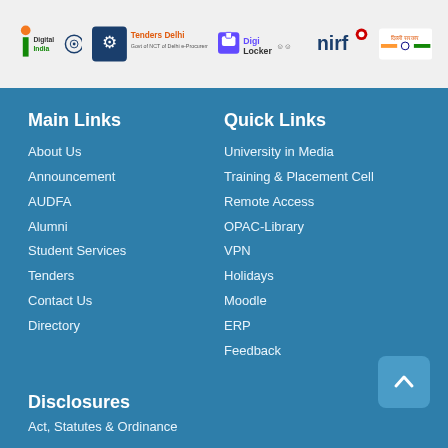[Figure (logo): Header logos bar: Digital India, Tenders Delhi, DigiLocker, accessibility icon, NIRF, Delhi Government]
Main Links
About Us
Announcement
AUDFA
Alumni
Student Services
Tenders
Contact Us
Directory
Quick Links
University in Media
Training & Placement Cell
Remote Access
OPAC-Library
VPN
Holidays
Moodle
ERP
Feedback
Disclosures
Act, Statutes & Ordinance